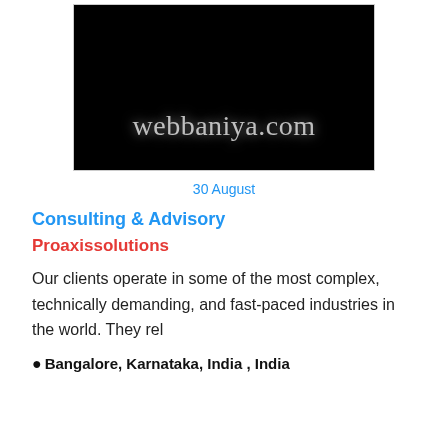[Figure (logo): Black background logo image with text 'webbaniya.com' in light grey serif font]
30 August
Consulting & Advisory
Proaxissolutions
Our clients operate in some of the most complex, technically demanding, and fast-paced industries in the world. They rel
📍 Bangalore, Karnataka, India , India